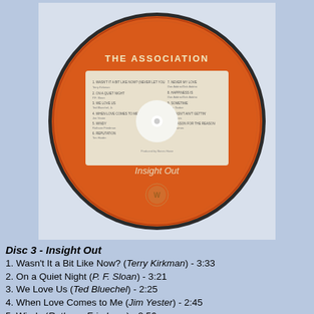[Figure (photo): CD disc for The Association album 'Insight Out', orange disc with track listing on the label, white center hub, Warner Bros logo at bottom]
Disc 3 - Insight Out
1. Wasn't It a Bit Like Now? (Terry Kirkman) - 3:33
2. On a Quiet Night (P. F. Sloan) - 3:21
3. We Love Us (Ted Bluechel) - 2:25
4. When Love Comes to Me (Jim Yester) - 2:45
5. Windy (Ruthann Friedman) - 2:56
6. Reputation (Tim Hardin) - 2:38
7. Never My Love (Don Addrisi, Dick Addrisi) - 3:10